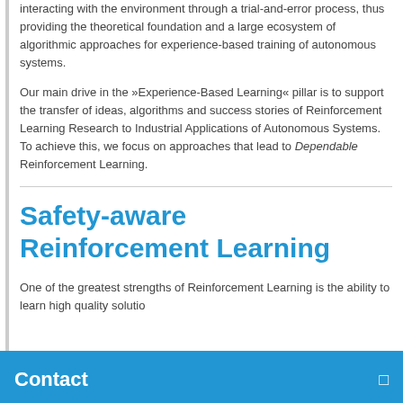interacting with the environment through a trial-and-error process, thus providing the theoretical foundation and a large ecosystem of algorithmic approaches for experience-based training of autonomous systems.
Our main drive in the »Experience-Based Learning« pillar is to support the transfer of ideas, algorithms and success stories of Reinforcement Learning Research to Industrial Applications of Autonomous Systems. To achieve this, we focus on approaches that lead to Dependable Reinforcement Learning.
Safety-aware Reinforcement Learning
One of the greatest strengths of Reinforcement Learning is the ability to learn high quality solutions...
Contact